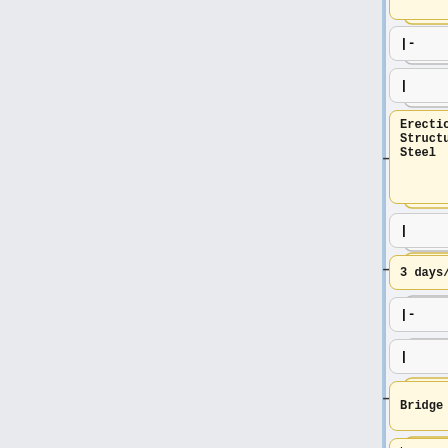[Figure (flowchart): Partial flowchart showing two parallel columns of process nodes. Left column (yellow) includes: (top cut off), |-,  |, Erection of Structural Steel, |, 3 days/span, |-, |, Bridge Decks, * Form and Place Reinforcement (200 ft. Right column (blue) includes: (top cut off), |-, |, Mast Arms / Strain Poles, |, 25 weeks, |-, |, Concrete Spun Poles. Minus and plus prefixes appear next to nodes.]